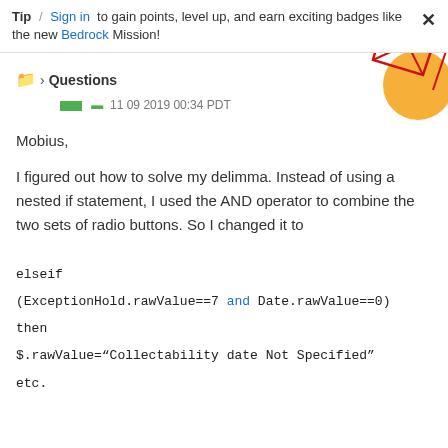Tip / Sign in to gain points, level up, and earn exciting badges like the new Bedrock Mission!
Questions
11 09 2019 00:34 PDT
Mobius,
I figured out how to solve my delimma. Instead of using a nested if statement, I used the AND operator to combine the two sets of radio buttons. So I changed it to
elseif
(ExceptionHold.rawValue==7 and Date.rawValue==0)
then
$.rawValue="Collectability date Not Specified"
etc.